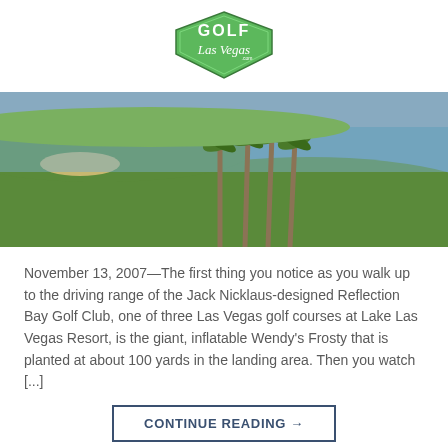[Figure (logo): Golf Las Vegas logo — green diamond shield shape with 'GOLF' text and cursive 'Las Vegas' below]
[Figure (photo): Aerial photograph of Reflection Bay Golf Club at Lake Las Vegas Resort showing green fairways, palm trees, and a blue lake/water feature]
November 13, 2007—The first thing you notice as you walk up to the driving range of the Jack Nicklaus-designed Reflection Bay Golf Club, one of three Las Vegas golf courses at Lake Las Vegas Resort, is the giant, inflatable Wendy's Frosty that is planted at about 100 yards in the landing area. Then you watch [...]
CONTINUE READING →